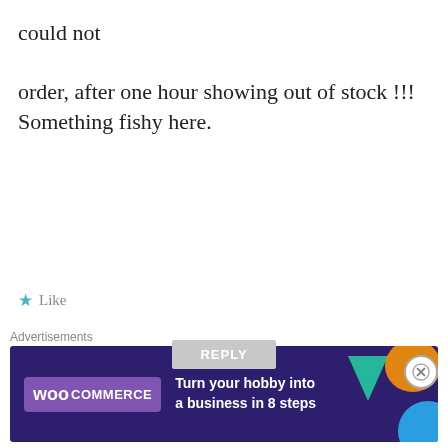could not

order, after one hour showing out of stock !!! Something fishy here.
★ Like
REPLY
vinod
MAY 23, 2014 AT 1:07 PM
Flipkart will now bring phone
Advertisements
[Figure (logo): WooCommerce advertisement banner: dark purple background with WooCommerce logo, teal triangle, orange blob, blue circle. Text: Turn your hobby into a business in 8 steps]